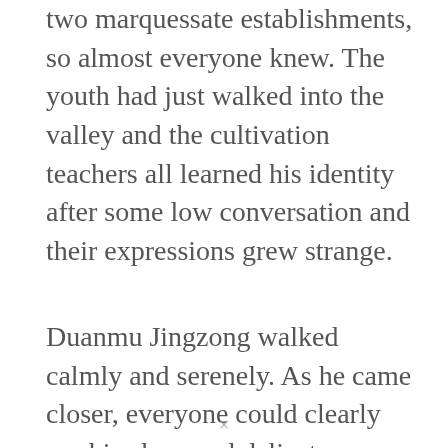two marquessate establishments, so almost everyone knew. The youth had just walked into the valley and the cultivation teachers all learned his identity after some low conversation and their expressions grew strange.
Duanmu Jingzong walked calmly and serenely. As he came closer, everyone could clearly see his clean and delicate features.
×